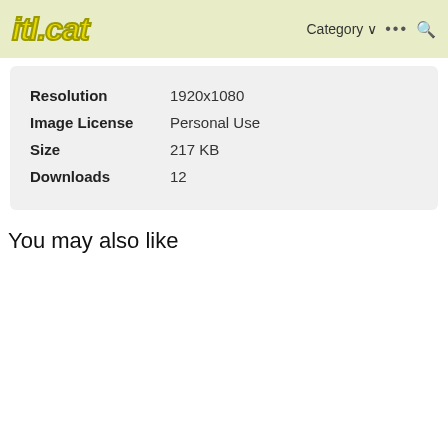itl.cat  Category  ...  🔍
| Resolution | 1920x1080 |
| Image License | Personal Use |
| Size | 217 KB |
| Downloads | 12 |
You may also like